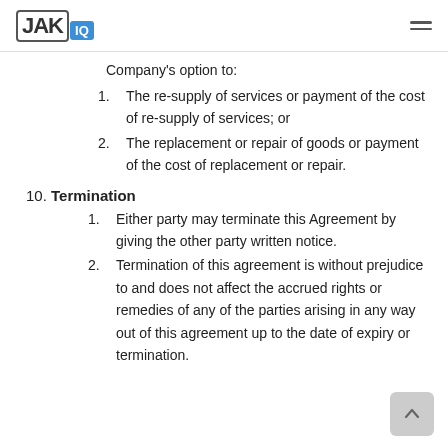JAKIQ
Company's option to:
1. The re-supply of services or payment of the cost of re-supply of services; or
2. The replacement or repair of goods or payment of the cost of replacement or repair.
10. Termination
1. Either party may terminate this Agreement by giving the other party written notice.
2. Termination of this agreement is without prejudice to and does not affect the accrued rights or remedies of any of the parties arising in any way out of this agreement up to the date of expiry or termination.